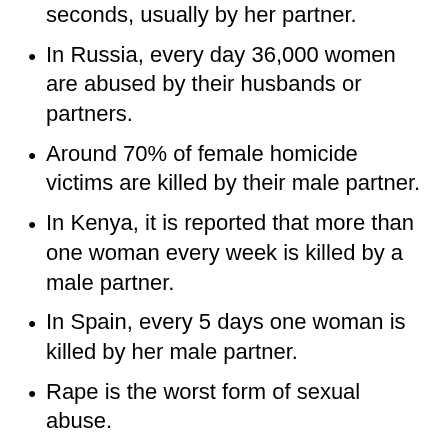seconds, usually by her partner.
In Russia, every day 36,000 women are abused by their husbands or partners.
Around 70% of female homicide victims are killed by their male partner.
In Kenya, it is reported that more than one woman every week is killed by a male partner.
In Spain, every 5 days one woman is killed by her male partner.
Rape is the worst form of sexual abuse.
It often leads to unwanted pregnancies and sexually transmitted diseases such as HIV/Aids. Only a fraction of rapes are being reported and